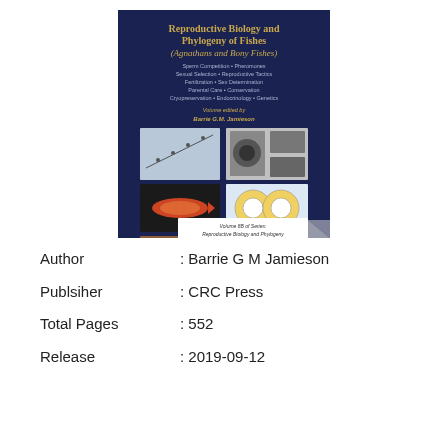[Figure (photo): Book cover of 'Reproductive Biology and Phylogeny of Fishes (Agnathans and Bony Fishes)' edited by Barrie G.M. Jamieson, published as Volume 8B of series. Dark navy blue cover with gold title text and fish biology images.]
Author : Barrie G M Jamieson
Publsiher : CRC Press
Total Pages : 552
Release : 2019-09-12